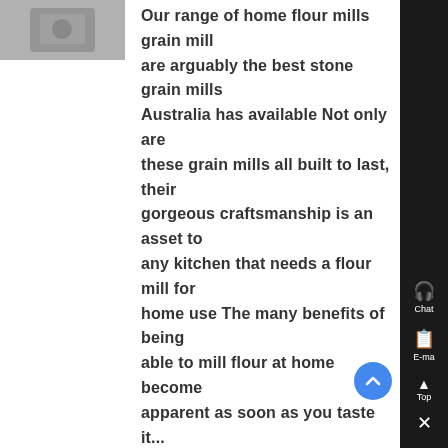[Figure (photo): Small thumbnail image of a grain mill or similar kitchen appliance, partially visible at top-left]
Our range of home flour mills grain mills are arguably the best stone grain mills Australia has available Not only are these grain mills all built to last, their gorgeous craftsmanship is an asset to any kitchen that needs a flour mill for home use The many benefits of being able to mill flour at home become apparent as soon as you taste it...
[Figure (photo): Thumbnail image of a Wheat Atta Chakki machine, industrial/commercial grain mill]
Wheat Atta Chakki
Mill Power Mild Steel 10 Hp Commercial Atta Chakki Price 100 Kg/Hr, 90-100kg/Hr For Commercial 5 Hp Atta Chakki Machine For Business Price 50 Kg/Hr